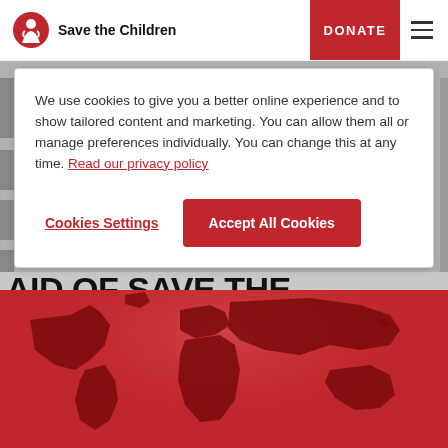Save the Children | DONATE
[Figure (screenshot): Screenshot of Save the Children website showing cookie consent banner overlay on top of a page with partially visible headline 'AID OF SAVE THE CHILDREN'S CHRISTMAS JUMPER DAY' and a red world map hero image below]
We use cookies to give you a better online experience and to show tailored content and marketing. You can allow them all or manage preferences individually. You can change this at any time. Read our privacy policy
Cookies Settings
Accept All Cookies
AID OF SAVE THE CHILDREN'S CHRISTMAS JUMPER DAY